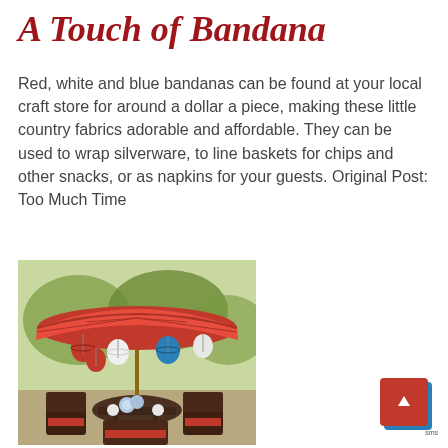A Touch of Bandana
Red, white and blue bandanas can be found at your local craft store for around a dollar a piece, making these little country fabrics adorable and affordable. They can be used to wrap silverware, to line baskets for chips and other snacks, or as napkins for your guests. Original Post: Too Much Time
[Figure (photo): Outdoor patio table setting with a red umbrella decorated with red, white, and blue paper lanterns. Dark wicker chairs with red cushions surround a table with flowers and place settings, set in a garden.]